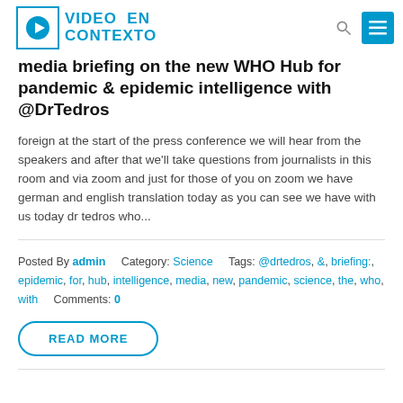VIDEO EN CONTEXTO
media briefing on the new WHO Hub for pandemic & epidemic intelligence with @DrTedros
foreign at the start of the press conference we will hear from the speakers and after that we'll take questions from journalists in this room and via zoom and just for those of you on zoom we have german and english translation today as you can see we have with us today dr tedros who...
Posted By admin   Category: Science   Tags: @drtedros, &, briefing:, epidemic, for, hub, intelligence, media, new, pandemic, science, the, who, with   Comments: 0
READ MORE